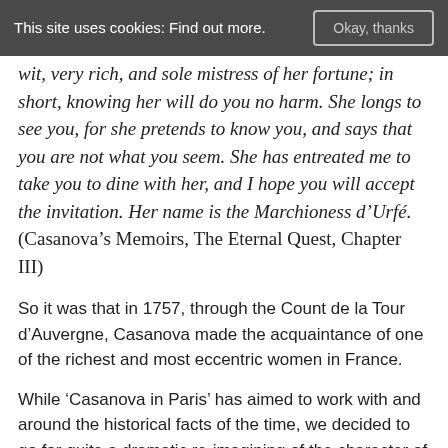This site uses cookies: Find out more.
wit, very rich, and sole mistress of her fortune; in short, knowing her will do you no harm. She longs to see you, for she pretends to know you, and says that you are not what you seem. She has entreated me to take you to dine with her, and I hope you will accept the invitation. Her name is the Marchioness d’Urfé.
(Casanova’s Memoirs, The Eternal Quest, Chapter III)
So it was that in 1757, through the Count de la Tour d’Auvergne, Casanova made the acquaintance of one of the richest and most eccentric women in France.
While ‘Casanova in Paris’ has aimed to work with and around the historical facts of the time, we decided to go for quite a dramatic re-imagining of the character of